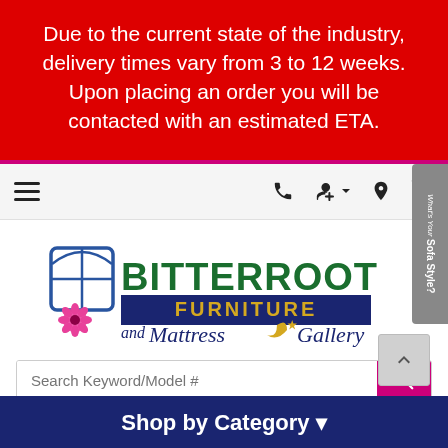Due to the current state of the industry, delivery times vary from 3 to 12 weeks. Upon placing an order you will be contacted with an estimated ETA.
[Figure (screenshot): Website navigation bar with hamburger menu icon on left, and phone, account, location, and cart icons on right. Cart shows badge with 0.]
[Figure (logo): Bitterroot Furniture and Mattress Gallery logo with window grid icon and flower on left, text BITTERROOT in dark green, FURNITURE in gold on navy banner, and Mattress Gallery in script with crescent moon and star]
[Figure (screenshot): Search bar with placeholder text 'Search Keyword/Model #' and pink search button]
Shop by Category ▾